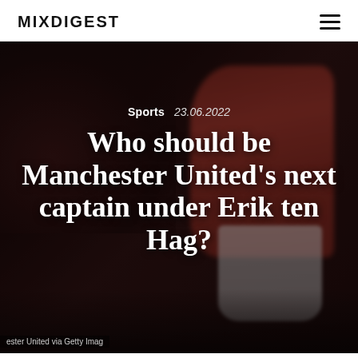MIXDIGEST
[Figure (photo): A Manchester United player wearing number 5 in a red kit, holding his hand to his head in a gesture of frustration, with a blurred crowd in the background at Old Trafford.]
Sports   23.06.2022
Who should be Manchester United's next captain under Erik ten Hag?
ester United via Getty Imag